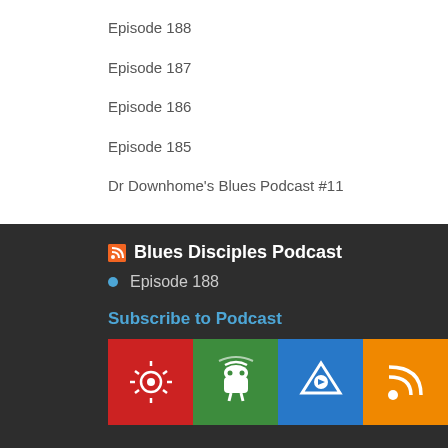Episode 188
Episode 187
Episode 186
Episode 185
Dr Downhome's Blues Podcast #11
Blues Disciples Podcast
Episode 188
Subscribe to Podcast
[Figure (infographic): Four colored subscription buttons: red (Google Podcasts), green (Android/Podcast Addict), blue (Podchaser), orange (RSS feed)]